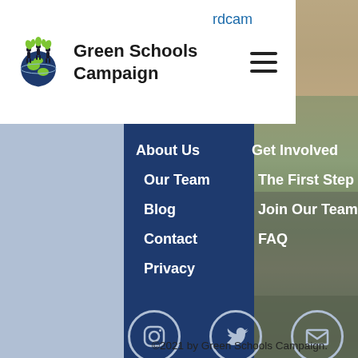Green Schools Campaign
About Us
Our Team
Blog
Contact
Privacy
Get Involved
The First Step
Join Our Team
FAQ
[Figure (logo): Green Schools Campaign logo with globe and people silhouettes]
©2021 by Green Schools Campaign.